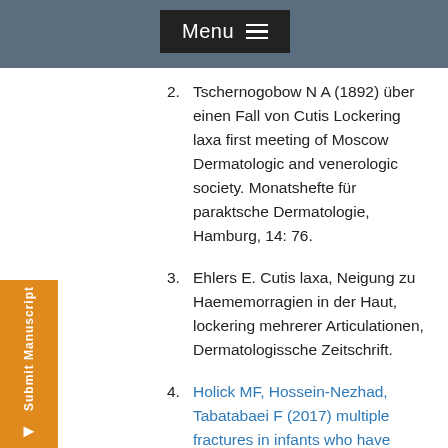Menu
2. Tschernogobow N A (1892) über einen Fall von Cutis Lockering laxa first meeting of Moscow Dermatologic and venerologic society. Monatshefte für paraktsche Dermatologie, Hamburg, 14: 76.
3. Ehlers E. Cutis laxa, Neigung zu Haememorragien in der Haut, lockering mehrerer Articulationen, Dermatologissche Zeitschrift.
4. Holick MF, Hossein-Nezhad, Tabatabaei F (2017) multiple fractures in infants who have Ehlers-Danlos/hypermobility syndrome and or vitamine D deficieciency. A case series of 72 infans whose parents